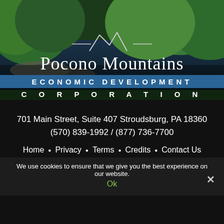[Figure (photo): Aerial view of a forested lake area with mountains, green trees covering hillsides and a body of water with rocky shoreline visible. Used as a hero background image.]
Pocono Mountains
Economic Development
CORPORATION
701 Main Street, Suite 407 Stroudsburg, PA 18360
(570) 839-1992 / (877) 736-7700
Home • Privacy • Terms • Credits • Contact Us
We use cookies to ensure that we give you the best experience on our website.
Ok